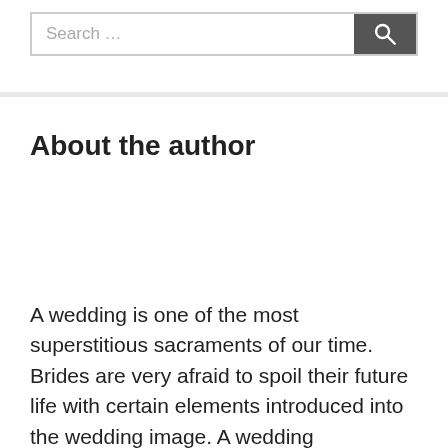[Figure (other): Search bar with text input field showing placeholder 'Search …' and a dark grey search button with magnifying glass icon]
About the author
A wedding is one of the most superstitious sacraments of our time. Brides are very afraid to spoil their future life with certain elements introduced into the wedding image. A wedding celebration involves a whole ceremony, which is based on a number of beliefs that have been passed